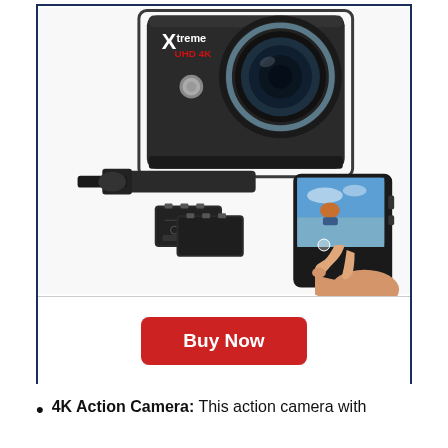[Figure (photo): Xtreme UHD 4K action camera product photo showing the camera body with lens, mounting bracket, two batteries, and a touchscreen display on the back showing a skydiver being touched by a finger. The camera has a logo reading 'Xtreme UHD 4K' in white and red text.]
Buy Now
4K Action Camera: This action camera with